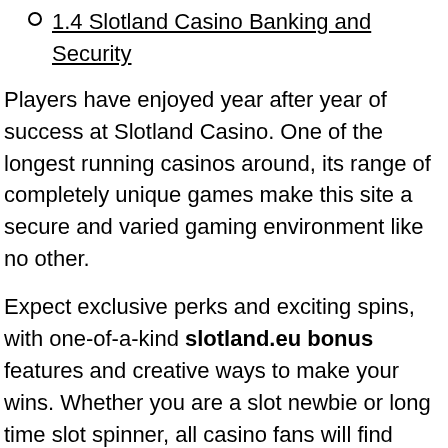1.4 Slotland Casino Banking and Security
Players have enjoyed year after year of success at Slotland Casino. One of the longest running casinos around, its range of completely unique games make this site a secure and varied gaming environment like no other.
Expect exclusive perks and exciting spins, with one-of-a-kind slotland.eu bonus features and creative ways to make your wins. Whether you are a slot newbie or long time slot spinner, all casino fans will find games to love at Slotland.
Slotland Casino Games
Every game available is exclusive to Slotland Entertainment, with over 50 games on offer that can be found at no other casino. Bold graphics and exciting extras lead players to their